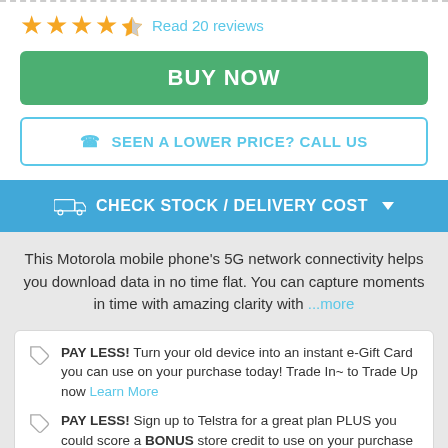[Figure (other): Star rating: 4.5 stars out of 5]
Read 20 reviews
BUY NOW
SEEN A LOWER PRICE? CALL US
CHECK STOCK / DELIVERY COST
This Motorola mobile phone's 5G network connectivity helps you download data in no time flat. You can capture moments in time with amazing clarity with ...more
PAY LESS! Turn your old device into an instant e-Gift Card you can use on your purchase today! Trade In~ to Trade Up now Learn More
PAY LESS! Sign up to Telstra for a great plan PLUS you could score a BONUS store credit to use on your purchase today! Learn More